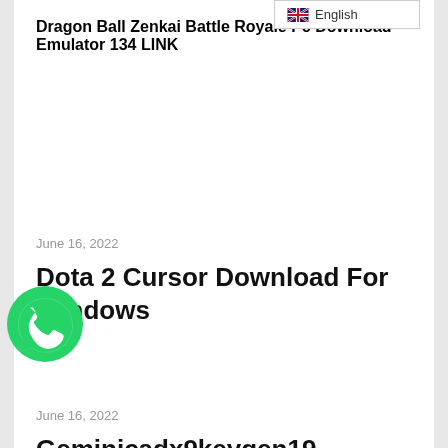English
Dragon Ball Zenkai Battle Royale Pc Download Emulator 134 LINK
June 16, 2022
Dota 2 Cursor Download For Windows
[Figure (logo): WhatsApp green phone icon logo]
June 16, 2022
Geminicadx9keygen19